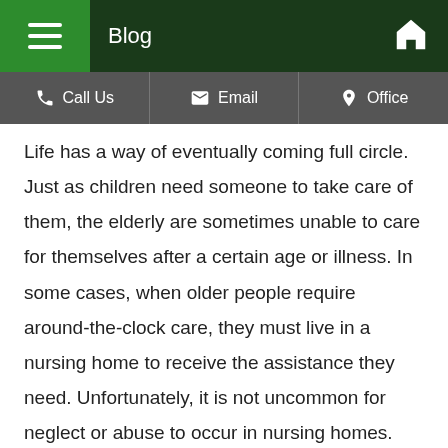Blog
Call Us  Email  Office
Life has a way of eventually coming full circle. Just as children need someone to take care of them, the elderly are sometimes unable to care for themselves after a certain age or illness. In some cases, when older people require around-the-clock care, they must live in a nursing home to receive the assistance they need. Unfortunately, it is not uncommon for neglect or abuse to occur in nursing homes. According to the National Center on Elder Abuse, one out of 10 Americans over the age of 60 has experienced some form of abuse. You always want what is best for your loved ones and the thought that someone could be